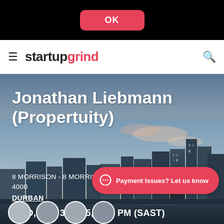[Figure (screenshot): Black top bar with pink/red OK button]
startup grind
[Figure (photo): Durban city skyline at dusk with buildings silhouetted against a blue-pink sky]
Jonathan Liebmann (Propertuity)
8 MORRISON - 8 MORRISON STREET DURBAN 4000
DURBAN
WED, JUN 3, 2015, 6:30 PM (SAST)
[Figure (screenshot): Red pill-shaped button with chat icon and text: Payment Issues? Let us know]